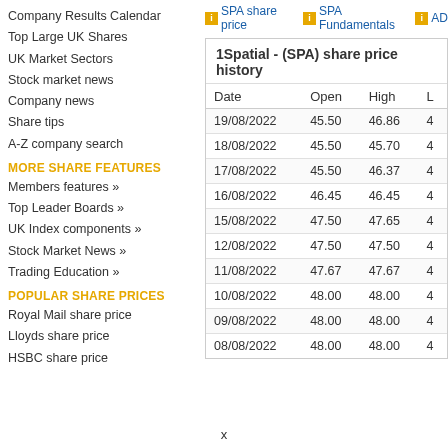Company Results Calendar
Top Large UK Shares
UK Market Sectors
Stock market news
Company news
Share tips
A-Z company search
MORE SHARE FEATURES
Members features »
Top Leader Boards »
UK Index components »
Stock Market News »
Trading Education »
POPULAR SHARE PRICES
Royal Mail share price
Lloyds share price
HSBC share price
SPA share price  SPA Fundamentals  AD
| Date | Open | High | L |
| --- | --- | --- | --- |
| 19/08/2022 | 45.50 | 46.86 | 4 |
| 18/08/2022 | 45.50 | 45.70 | 4 |
| 17/08/2022 | 45.50 | 46.37 | 4 |
| 16/08/2022 | 46.45 | 46.45 | 4 |
| 15/08/2022 | 47.50 | 47.65 | 4 |
| 12/08/2022 | 47.50 | 47.50 | 4 |
| 11/08/2022 | 47.67 | 47.67 | 4 |
| 10/08/2022 | 48.00 | 48.00 | 4 |
| 09/08/2022 | 48.00 | 48.00 | 4 |
| 08/08/2022 | 48.00 | 48.00 | 4 |
x